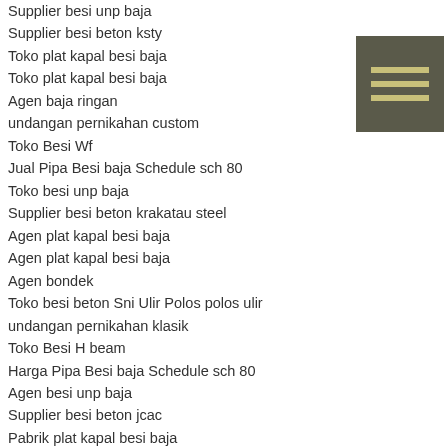Supplier besi unp baja
Supplier besi beton ksty
Toko plat kapal besi baja
Toko plat kapal besi baja
Agen baja ringan
undangan pernikahan custom
Toko Besi Wf
Jual Pipa Besi baja Schedule sch 80
Toko besi unp baja
Supplier besi beton krakatau steel
Agen plat kapal besi baja
Agen plat kapal besi baja
Agen bondek
Toko besi beton Sni Ulir Polos polos ulir
undangan pernikahan klasik
Toko Besi H beam
Harga Pipa Besi baja Schedule sch 80
Agen besi unp baja
Supplier besi beton jcac
Pabrik plat kapal besi baja
Pabrik plat kapal besi baja
Agen Plat kapal besi baja bki krakatau steel
Toko besi beton sii
undangan pernikahan batik
Toko Besi Beton
Pabrik Pipa Besi baja Schedule sch 80
Pabrik besi unp baja
Supplier besi beton interworld steel is
Distributor besi siku baja